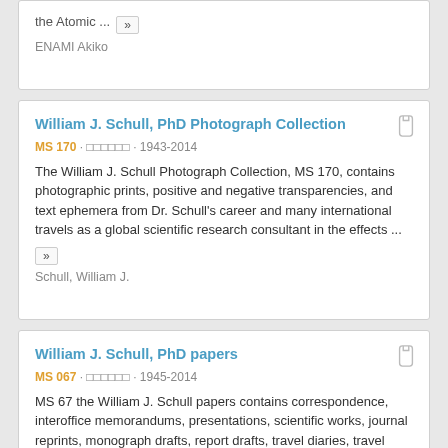the Atomic ... »
ENAMI Akiko
William J. Schull, PhD Photograph Collection
MS 170 · 関連コレクション · 1943-2014
The William J. Schull Photograph Collection, MS 170, contains photographic prints, positive and negative transparencies, and text ephemera from Dr. Schull's career and many international travels as a global scientific research consultant in the effects ...
Schull, William J.
William J. Schull, PhD papers
MS 067 · 関連コレクション · 1945-2014
MS 67 the William J. Schull papers contains correspondence, interoffice memorandums, presentations, scientific works, journal reprints, monograph drafts, report drafts, travel diaries, travel receipts and itineraries, travel ephemera, other printed ...
Schull, William J.